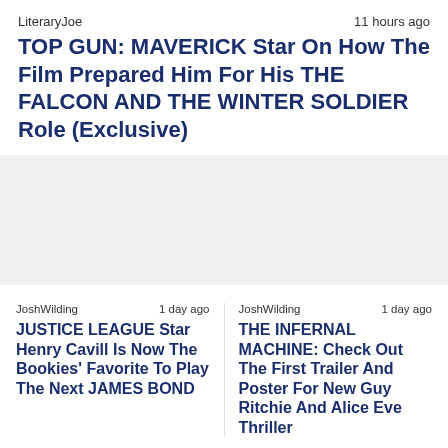LiteraryJoe    11 hours ago
TOP GUN: MAVERICK Star On How The Film Prepared Him For His THE FALCON AND THE WINTER SOLDIER Role (Exclusive)
JoshWilding    1 day ago
JUSTICE LEAGUE Star Henry Cavill Is Now The Bookies' Favorite To Play The Next JAMES BOND
JoshWilding    1 day ago
THE INFERNAL MACHINE: Check Out The First Trailer And Poster For New Guy Ritchie And Alice Eve Thriller
More Action Movies & TV ▶